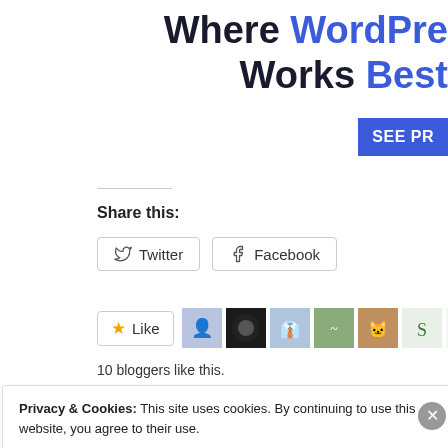Where WordPress Works Best
SEE PR
Share this:
Twitter   Facebook
[Figure (other): Row of blogger avatar icons with a Like button]
10 bloggers like this.
Privacy & Cookies: This site uses cookies. By continuing to use this website, you agree to their use.
To find out more, including how to control cookies, see here: Cookie Policy
Close and accept